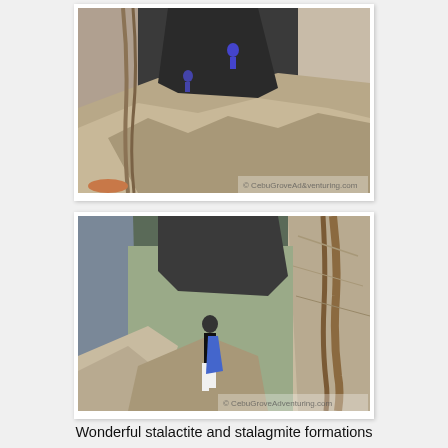[Figure (photo): Cave interior photograph showing rocky formations, rope/vine, and people in a narrow cave passage with light at the top]
[Figure (photo): Cave interior photograph showing a person standing among large limestone rock formations with ropes hanging, cave walls visible]
Wonderful stalactite and stalagmite formations